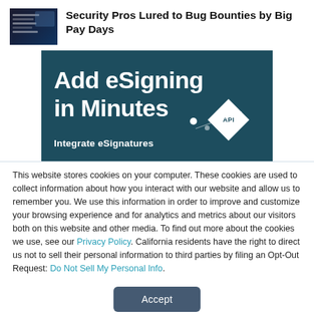Security Pros Lured to Bug Bounties by Big Pay Days
[Figure (screenshot): Advertisement banner with dark teal background. Large white text reads 'Add eSigning in Minutes'. Subtext reads 'Integrate eSignatures'. An API diamond badge and connecting dots/lines are shown on the right side.]
This website stores cookies on your computer. These cookies are used to collect information about how you interact with our website and allow us to remember you. We use this information in order to improve and customize your browsing experience and for analytics and metrics about our visitors both on this website and other media. To find out more about the cookies we use, see our Privacy Policy. California residents have the right to direct us not to sell their personal information to third parties by filing an Opt-Out Request: Do Not Sell My Personal Info.